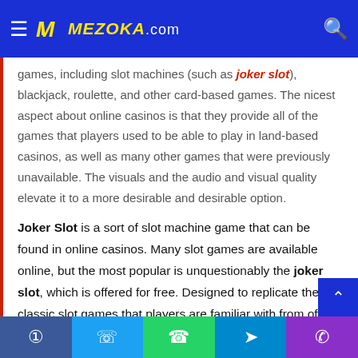MEZOKA.COM
games, including slot machines (such as joker slot), blackjack, roulette, and other card-based games. The nicest aspect about online casinos is that they provide all of the games that players used to be able to play in land-based casinos, as well as many other games that were previously unavailable. The visuals and the audio and visual quality elevate it to a more desirable and desirable option.
Joker Slot is a sort of slot machine game that can be found in online casinos. Many slot games are available online, but the most popular is unquestionably the joker slot, which is offered for free. Designed to replicate the classic slot games that players are familiar with from offline casinos, this game provides players with the same feeling and experience they
Facebook Twitter WhatsApp Telegram Phone